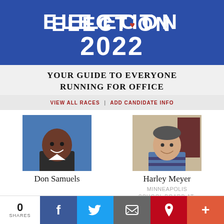[Figure (infographic): Election 2022 header banner with blue background, ELECTION text with red heart icon and 2022 in white bold text]
YOUR GUIDE TO EVERYONE RUNNING FOR OFFICE
VIEW ALL RACES | ADD CANDIDATE INFO
[Figure (photo): Headshot of Don Samuels, a smiling Black man in a suit]
Don Samuels
[Figure (photo): Headshot of Harley Meyer, a smiling white man in a striped shirt]
Harley Meyer
MINNEAPOLIS SCHOOL BOARD AT-LARGE
[Figure (infographic): Social share bar with 0 SHARES, Facebook, Twitter, Email, Pinterest, and Plus buttons]